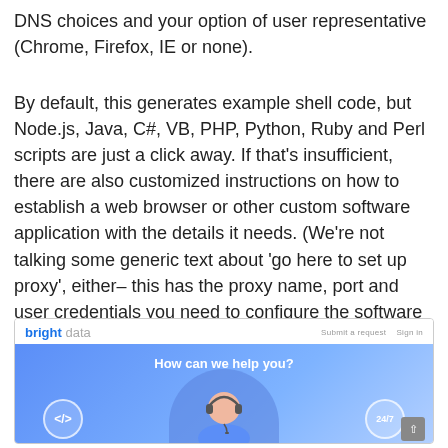DNS choices and your option of user representative (Chrome, Firefox, IE or none).
By default, this generates example shell code, but Node.js, Java, C#, VB, PHP, Python, Ruby and Perl scripts are just a click away. If that's insufficient, there are also customized instructions on how to establish a web browser or other custom software application with the details it needs. (We're not talking some generic text about 'go here to set up proxy', either– this has the proxy name, port and user credentials you need to configure the software application for your selected settings.).
[Figure (screenshot): Screenshot of Bright Data support page showing 'How can we help you?' with a customer service agent illustration, code icon, and 24/7 icon]